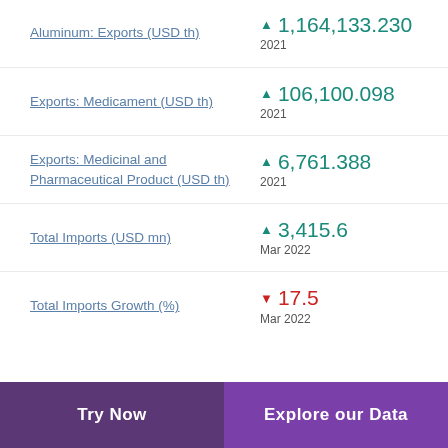Aluminum: Exports (USD th)
Exports: Medicament (USD th)
Exports: Medicinal and Pharmaceutical Product (USD th)
Total Imports (USD mn)
Total Imports Growth (%)
Try Now | Explore our Data